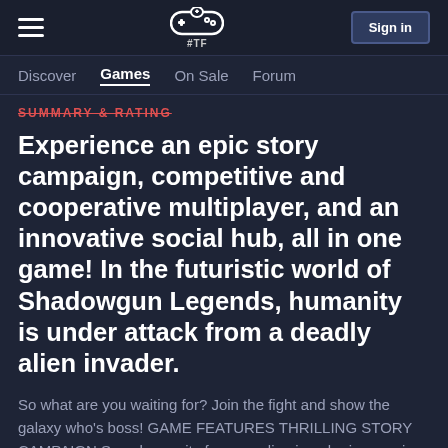WTF — Sign in
Discover | Games | On Sale | Forum
SUMMARY & RATING
Experience an epic story campaign, competitive and cooperative multiplayer, and an innovative social hub, all in one game! In the futuristic world of Shadowgun Legends, humanity is under attack from a deadly alien invader.
So what are you waiting for? Join the fight and show the galaxy who's boss! GAME FEATURES THRILLING STORY CAMPAIGN Save humanity from an alien invader in an epic Story Campaign spanning over 200 mission on 4 diverse planets